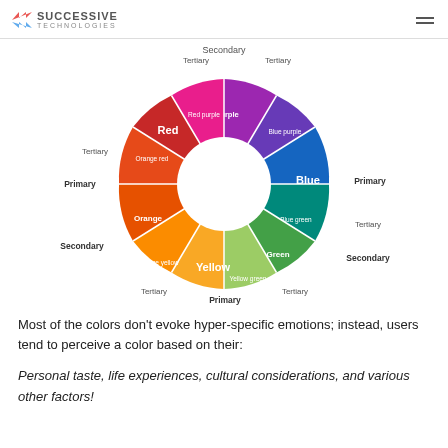SUCCESSIVE TECHNOLOGIES
[Figure (other): Color wheel diagram showing primary, secondary, and tertiary colors: Red (Primary), Blue (Primary), Yellow (Primary), Orange (Secondary), Green (Secondary), Purple (Secondary), Red purple (Tertiary), Blue purple (Tertiary), Orange red (Tertiary), Blue green (Tertiary), Orange yellow (Tertiary), Yellow green (Tertiary)]
Most of the colors don't evoke hyper-specific emotions; instead, users tend to perceive a color based on their:
Personal taste, life experiences, cultural considerations, and various other factors!